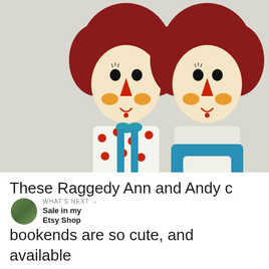[Figure (photo): Two ceramic Raggedy Ann and Andy figurines/bookends side by side. Both have red hair, triangle red noses, red and white striped legs, and blue outfits. Left figure wears blue overalls over polka-dot shirt with yellow pockets. Right figure wears a blue dress with white apron. Watermark reads 'Thrifty Rebel Vintage'. Social sharing icons visible on left (Pinterest with count 11, Facebook) and right side (heart icon, count 12, share icon). Shows 11 SHARES above the icons.]
These Raggedy Ann and Andy ceramic bookends are so cute, and available